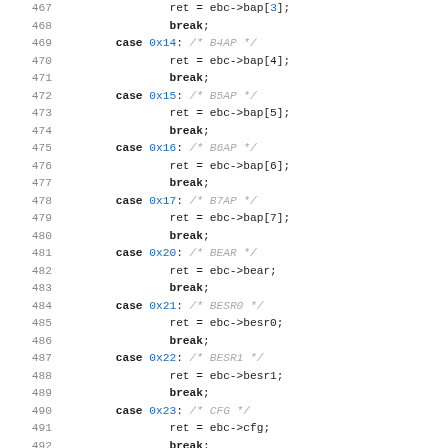Source code listing lines 467-499, C switch-case code for EBC register access